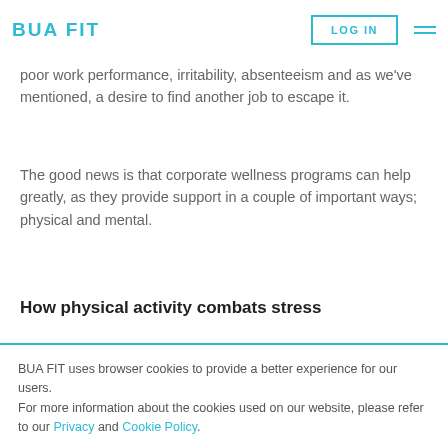BUA FIT | LOG IN
poor work performance, irritability, absenteeism and as we've mentioned, a desire to find another job to escape it.
The good news is that corporate wellness programs can help greatly, as they provide support in a couple of important ways; physical and mental.
How physical activity combats stress
BUA FIT uses browser cookies to provide a better experience for our users.
For more information about the cookies used on our website, please refer to our Privacy and Cookie Policy.
I ACCEPT